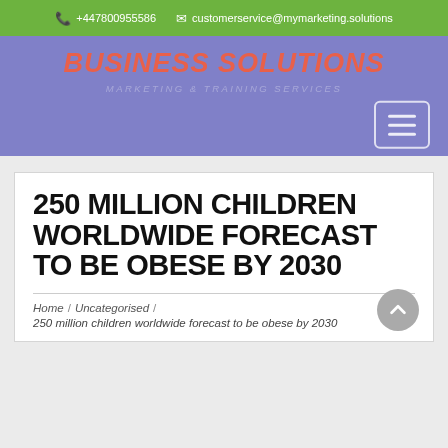+447800955586   customerservice@mymarketing.solutions
BUSINESS SOLUTIONS
250 MILLION CHILDREN WORLDWIDE FORECAST TO BE OBESE BY 2030
Home / Uncategorised / 250 million children worldwide forecast to be obese by 2030